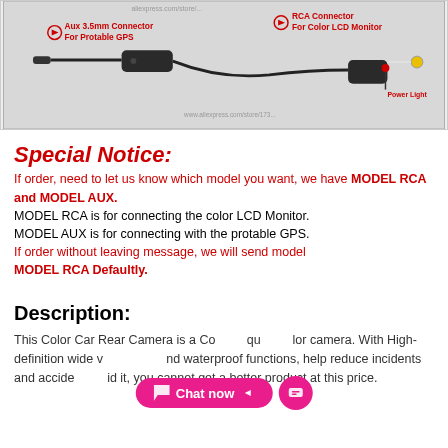[Figure (photo): Product photo showing wireless car rear camera video transmitter/receiver with cables. Left side shows Aux 3.5mm Connector For Portable GPS label. Right side shows RCA Connector For Color LCD Monitor label. Bottom right shows Power Light label. AliExpress store watermark visible.]
Special Notice:
If order, need to let us know which model you want, we have MODEL RCA and MODEL AUX. MODEL RCA is for connecting the color LCD Monitor. MODEL AUX is for connecting with the protable GPS. If order without leaving message, we will send model MODEL RCA Defaultly.
Description:
This Color Car Rear Camera is a Color high quality color camera. With High-definition wide view angle and waterproof functions, help reduce incidents and accidents. Did it, you cannot get a better product at this price.